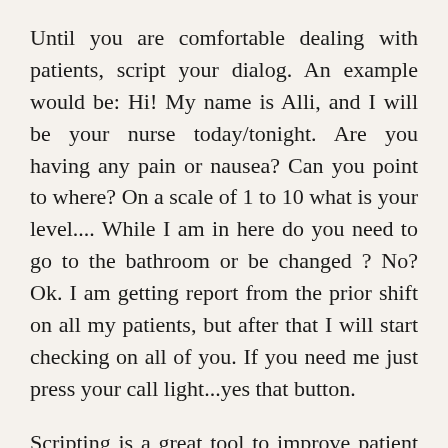Until you are comfortable dealing with patients, script your dialog. An example would be: Hi! My name is Alli, and I will be your nurse today/tonight. Are you having any pain or nausea? Can you point to where? On a scale of 1 to 10 what is your level.... While I am in here do you need to go to the bathroom or be changed ? No? Ok. I am getting report from the prior shift on all my patients, but after that I will start checking on all of you. If you need me just press your call light...yes that button.
Scripting is a great tool to improve patient satisfaction survey scores too. If you announce before you walk in to a patients room let me